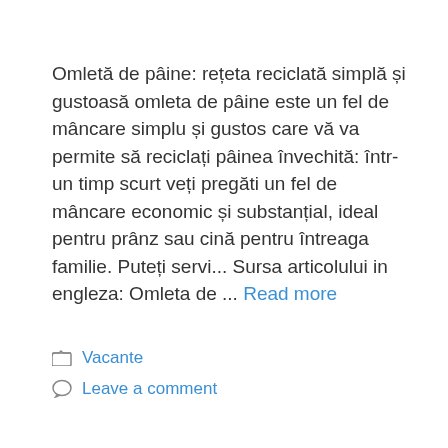Omletă de pâine: rețeta reciclată simplă și gustoasă omleta de pâine este un fel de mâncare simplu și gustos care vă va permite să reciclați pâinea învechită: într-un timp scurt veți pregăti un fel de mâncare economic și substanțial, ideal pentru prânz sau cină pentru întreaga familie. Puteți servi... Sursa articolului in engleza: Omleta de ... Read more
Vacante
Leave a comment